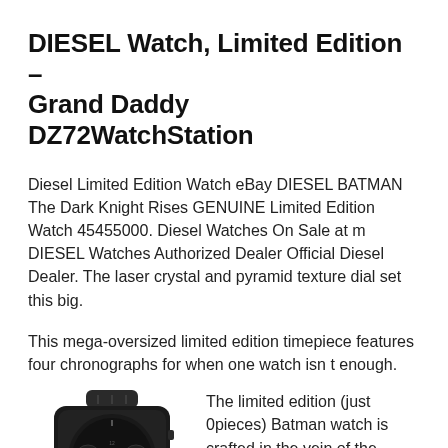DIESEL Watch, Limited Edition – Grand Daddy DZ72WatchStation
Diesel Limited Edition Watch eBay DIESEL BATMAN The Dark Knight Rises GENUINE Limited Edition Watch 45455000. Diesel Watches On Sale at m DIESEL Watches Authorized Dealer Official Diesel Dealer. The laser crystal and pyramid texture dial set this big.
This mega-oversized limited edition timepiece features four chronographs for when one watch isn t enough.
[Figure (photo): A large black Diesel watch with tank-like design, dark silicone strap, partially visible at bottom-left of page.]
The limited edition (just 0pieces) Batman watch is crafted in the vein of the Batmobile, as evidenced by the black silicone strap with tank-like